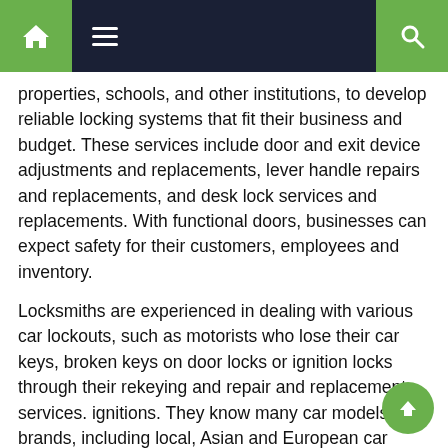Navigation bar with home, menu, and search icons
properties, schools, and other institutions, to develop reliable locking systems that fit their business and budget. These services include door and exit device adjustments and replacements, lever handle repairs and replacements, and desk lock services and replacements. With functional doors, businesses can expect safety for their customers, employees and inventory.
Locksmiths are experienced in dealing with various car lockouts, such as motorists who lose their car keys, broken keys on door locks or ignition locks through their rekeying and repair and replacement services. ignitions. They know many car models and brands, including local, Asian and European car models. MLS Locksmith staff members deal with renowned lock brands for residential, commercial and automotive locksmith services.